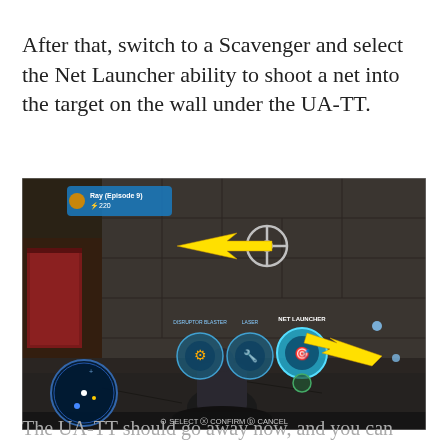After that, switch to a Scavenger and select the Net Launcher ability to shoot a net into the target on the wall under the UA-TT.
[Figure (screenshot): Video game screenshot showing a character with a weapon selection wheel open. A yellow arrow points to a target on the wall, and another yellow arrow points to the Net Launcher ability in the selection menu. HUD shows 'Ray (Episode 9)', health bar with 220. Bottom shows SELECT, CONFIRM, CANCEL controls. Minimap visible in lower left corner.]
The UA-TT should go away now, and you can